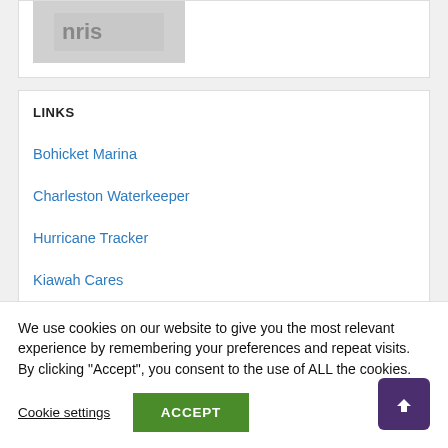[Figure (photo): Partial image with gray/white tones, appears to be a cropped photo or logo]
LINKS
Bohicket Marina
Charleston Waterkeeper
Hurricane Tracker
Kiawah Cares
We use cookies on our website to give you the most relevant experience by remembering your preferences and repeat visits. By clicking “Accept”, you consent to the use of ALL the cookies.
Cookie settings   ACCEPT